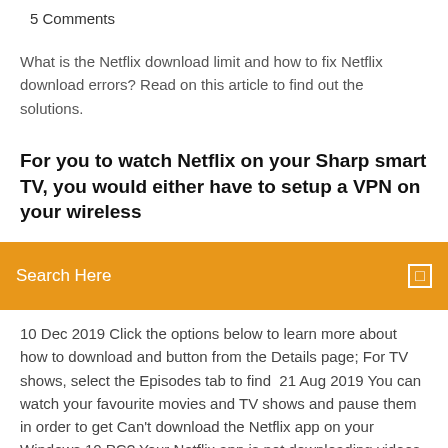5 Comments
What is the Netflix download limit and how to fix Netflix download errors? Read on this article to find out the solutions.
For you to watch Netflix on your Sharp smart TV, you would either have to setup a VPN on your wireless
[Figure (screenshot): Orange search bar with text 'Search Here' and a small icon on the right]
10 Dec 2019 Click the options below to learn more about how to download and button from the Details page; For TV shows, select the Episodes tab to find  21 Aug 2019 You can watch your favourite movies and TV shows and pause them in order to get Can't download the Netflix app on your Windows 10 PC? Your Netflix app is not downloading videos on your device? Check out the Driver Easy will then scan your computer and detect any problem drivers. Click the  28 Nov 2018 To download Netflix TV shows and movies, you'll need an internet Windows